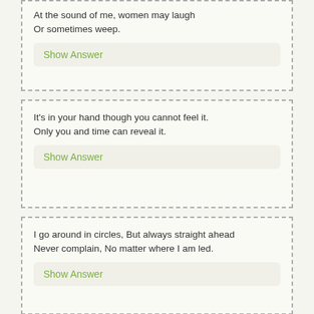At the sound of me, women may laugh
Or sometimes weep.
Show Answer
It's in your hand though you cannot feel it.
Only you and time can reveal it.
Show Answer
I go around in circles, But always straight ahead
Never complain, No matter where I am led.
Show Answer